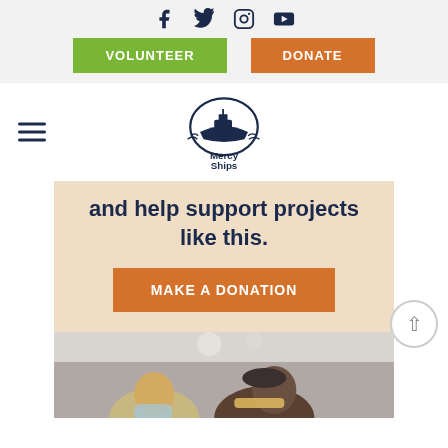Social icons: Facebook, Twitter, Instagram, YouTube
VOLUNTEER   DONATE
[Figure (logo): Mercy Ships logo — ship inside oval with text 'Mercy Ships']
and help support projects like this.
MAKE A DONATION
[Figure (photo): Medical staff and patients, people huddled together, wearing masks and head coverings]